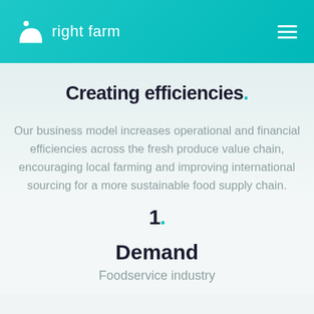right farm
Creating efficiencies.
Our business model increases operational and financial efficiencies across the fresh produce value chain, encouraging local farming and improving international sourcing for a more sustainable food supply chain.
1.
Demand
Foodservice industry